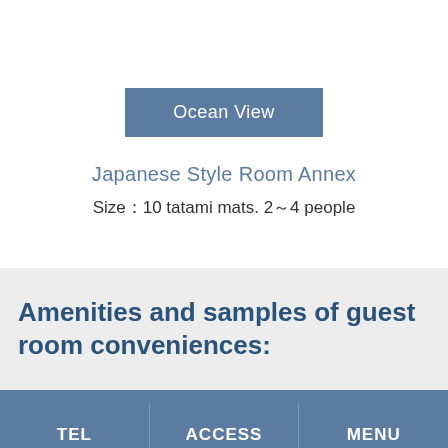[Figure (other): Blue button labeled Ocean View]
Japanese Style Room Annex
Size：10 tatami mats. 2～4 people
Amenities and samples of guest room conveniences:
TEL | ACCESS | MENU